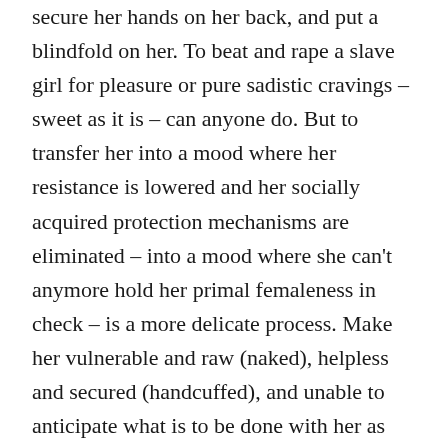secure her hands on her back, and put a blindfold on her. To beat and rape a slave girl for pleasure or pure sadistic cravings – sweet as it is – can anyone do. But to transfer her into a mood where her resistance is lowered and her socially acquired protection mechanisms are eliminated – into a mood where she can't anymore hold her primal femaleness in check – is a more delicate process. Make her vulnerable and raw (naked), helpless and secured (handcuffed), and unable to anticipate what is to be done with her as well as unable to hinder that which the Owner has decided shall be done with her (blindfolded) is a good start. Add then a bit of pain to drug her with adrenalin and endorfin and she is receptacle. This will make it possible to force free the deep primal instincts which exist in any woman, and which are her core beauty. Call out the female-creature in her and nurture